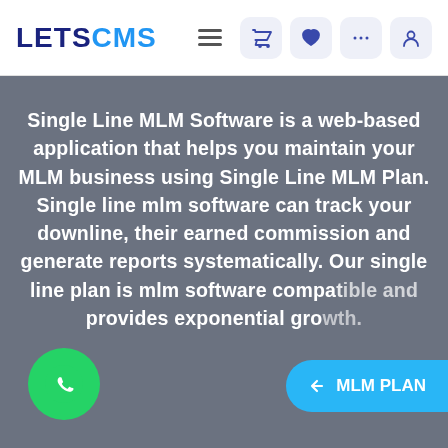LETSCMS — navigation header with logo, hamburger menu, cart, wishlist, more, and user icons
Single Line MLM Software is a web-based application that helps you maintain your MLM business using Single Line MLM Plan. Single line mlm software can track your downline, their earned commission and generate reports systematically. Our single line plan is mlm software compatible and provides exponential gro...